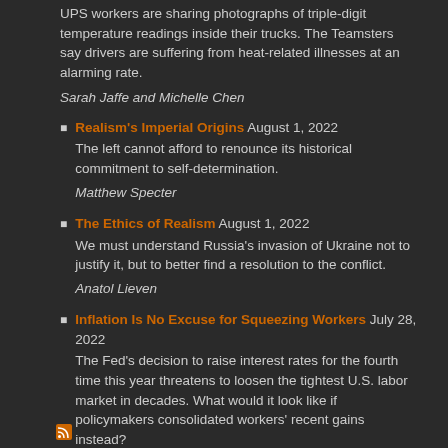UPS workers are sharing photographs of triple-digit temperature readings inside their trucks. The Teamsters say drivers are suffering from heat-related illnesses at an alarming rate.
Sarah Jaffe and Michelle Chen
Realism's Imperial Origins August 1, 2022
The left cannot afford to renounce its historical commitment to self-determination.
Matthew Specter
The Ethics of Realism August 1, 2022
We must understand Russia's invasion of Ukraine not to justify it, but to better find a resolution to the conflict.
Anatol Lieven
Inflation Is No Excuse for Squeezing Workers July 28, 2022
The Fed's decision to raise interest rates for the fourth time this year threatens to loosen the tightest U.S. labor market in decades. What would it look like if policymakers consolidated workers' recent gains instead?
Brian Callaci